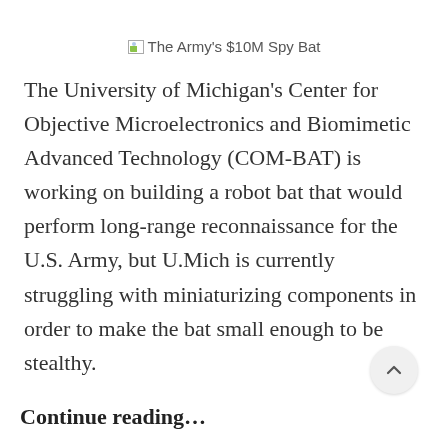[Figure (other): Broken image placeholder with alt text 'The Army's $10M Spy Bat']
The University of Michigan's Center for Objective Microelectronics and Biomimetic Advanced Technology (COM-BAT) is working on building a robot bat that would perform long-range reconnaissance for the U.S. Army, but U.Mich is currently struggling with miniaturizing components in order to make the bat small enough to be stealthy.
Continue reading...